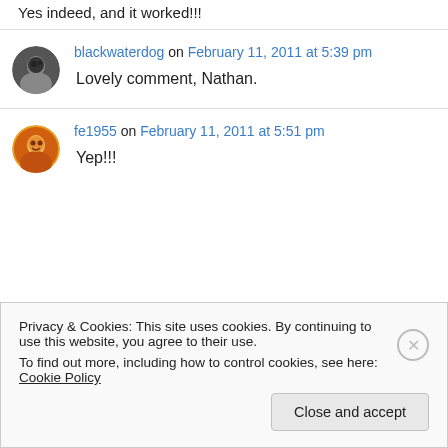Yes indeed, and it worked!!!
blackwaterdog on February 11, 2011 at 5:39 pm
Lovely comment, Nathan.
fe1955 on February 11, 2011 at 5:51 pm
Yep!!!
Privacy & Cookies: This site uses cookies. By continuing to use this website, you agree to their use.
To find out more, including how to control cookies, see here: Cookie Policy
Close and accept